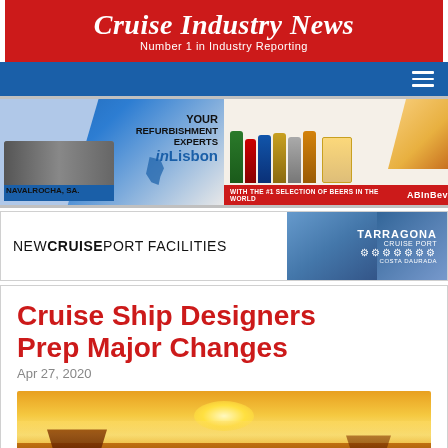Cruise Industry News — Number 1 in Industry Reporting
[Figure (photo): Advertisement banner for Navalrocha SA shipyard in Lisbon — 'Your Refurbishment Experts inLisbon']
[Figure (photo): Advertisement for AB InBev — '#1 selection of beers in the world', showing multiple beer bottles and a glass]
[Figure (photo): Advertisement for New Cruise Port Facilities — Tarragona Cruise Port, Costa Daurada]
Cruise Ship Designers Prep Major Changes
Apr 27, 2020
[Figure (photo): Sunrise or sunset over ocean/mountains, warm golden orange tones]